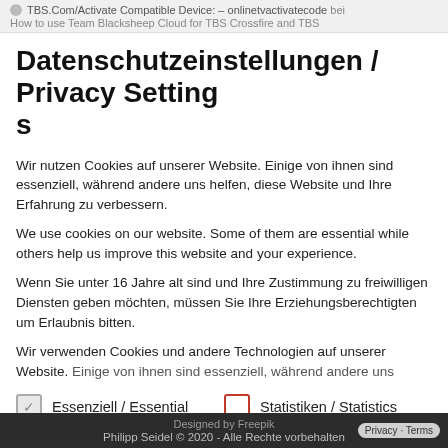TBS.Com/Activate Compatible Device: – onlinetvactivatecode bei
How to use Team Blacksheep Cloud for TBS Crossfire and TBS
Datenschutzeinstellungen / Privacy Settings
Wir nutzen Cookies auf unserer Website. Einige von ihnen sind essenziell, während andere uns helfen, diese Website und Ihre Erfahrung zu verbessern.
We use cookies on our website. Some of them are essential while others help us improve this website and your experience.
Wenn Sie unter 16 Jahre alt sind und Ihre Zustimmung zu freiwilligen Diensten geben möchten, müssen Sie Ihre Erziehungsberechtigten um Erlaubnis bitten.
Wir verwenden Cookies und andere Technologien auf unserer Website. Einige von ihnen sind essenziell, während andere uns helfen, diese
Essenziell / Essential
Statistiken / Statistics
Externe Medien / External Media
Designed by Freepik
Philipp Seidel © 2020 - Alle Rechte vorbehalten